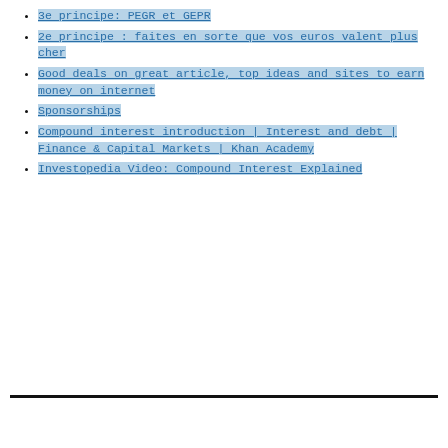3e principe: PEGR et GEPR
2e principe : faites en sorte que vos euros valent plus cher
Good deals on great article, top ideas and sites to earn money on internet
Sponsorships
Compound interest introduction | Interest and debt | Finance & Capital Markets | Khan Academy
Investopedia Video: Compound Interest Explained